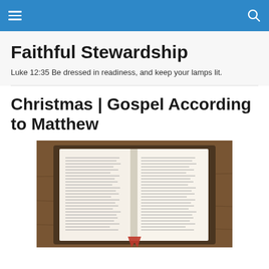Faithful Stewardship
Luke 12:35 Be dressed in readiness, and keep your lamps lit.
Christmas | Gospel According to Matthew
[Figure (photo): Open Bible on a wooden table, showing two pages of text with a red bookmark ribbon visible at the bottom.]